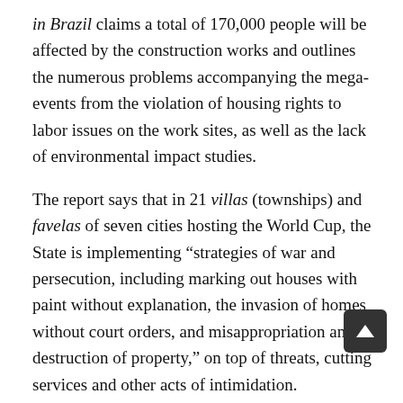in Brazil claims a total of 170,000 people will be affected by the construction works and outlines the numerous problems accompanying the mega-events from the violation of housing rights to labor issues on the work sites, as well as the lack of environmental impact studies.
The report says that in 21 villas (townships) and favelas of seven cities hosting the World Cup, the State is implementing "strategies of war and persecution, including marking out houses with paint without explanation, the invasion of homes without court orders, and misappropriation and destruction of property," on top of threats, cutting services and other acts of intimidation. (Articulação Nacional dos Comitês Populares da Copa, 2011:11) All those affected live in low-income areas with varying degrees of precariousness and informality. "The lack of information and prior notification creates a clima... instability and fear about the future," says the report, whi... paralyzes the affected families and places them at the mercy of